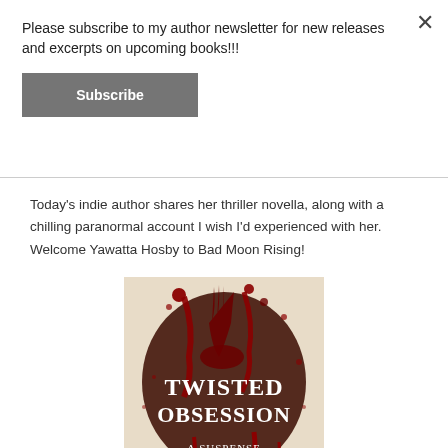Please subscribe to my author newsletter for new releases and excerpts on upcoming books!!!
Subscribe
Today's indie author shares her thriller novella, along with a chilling paranormal account I wish I'd experienced with her. Welcome Yawatta Hosby to Bad Moon Rising!
[Figure (illustration): Book cover for 'Twisted Obsession: A Suspense Novella' by Yawatta Hosby, featuring a dark blood splatter design on a beige/cream background with white serif text reading TWISTED OBSESSION and smaller text A SUSPENSE NOVELLA.]